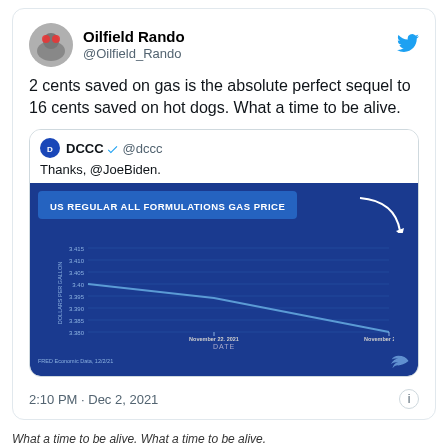Oilfield Rando
@Oilfield_Rando
2 cents saved on gas is the absolute perfect sequel to 16 cents saved on hot dogs. What a time to be alive.
DCCC @dccc
Thanks, @JoeBiden.
[Figure (line-chart): Line chart showing US regular all formulations gas price declining from ~3.40 on November 22, 2021 to ~3.38 on November 29, 2021. Source: FRED Economic Data, 12/2/21]
2:10 PM · Dec 2, 2021
What a time to be alive. What a time to be alive.